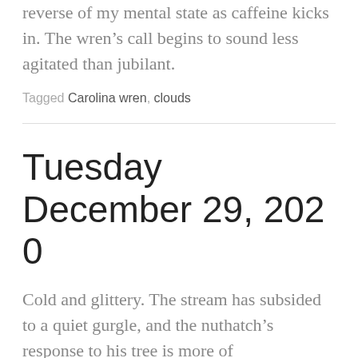reverse of my mental state as caffeine kicks in. The wren's call begins to sound less agitated than jubilant.
Tagged Carolina wren, clouds
Tuesday December 29, 2020
Cold and glittery. The stream has subsided to a quiet gurgle, and the nuthatch's response to his tree is more of